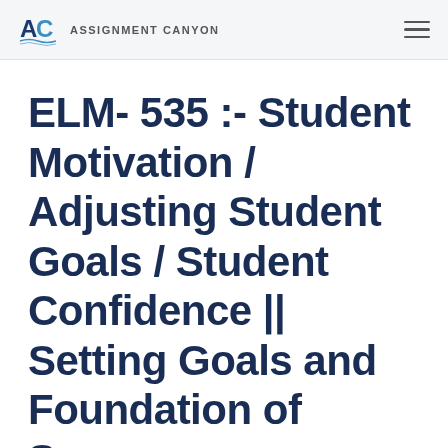ASSIGNMENT CANYON
ELM- 535 :- Student Motivation / Adjusting Student Goals / Student Confidence || Setting Goals and Foundation of Success